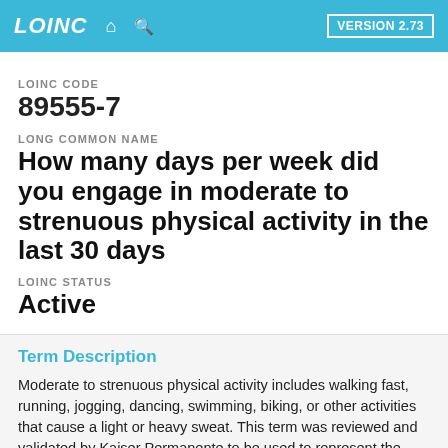LOINC VERSION 2.73
LOINC CODE
89555-7
LONG COMMON NAME
How many days per week did you engage in moderate to strenuous physical activity in the last 30 days
LOINC STATUS
Active
Term Description
Moderate to strenuous physical activity includes walking fast, running, jogging, dancing, swimming, biking, or other activities that cause a light or heavy sweat. This term was reviewed and validated by Kaiser Permanente to be used to represent the